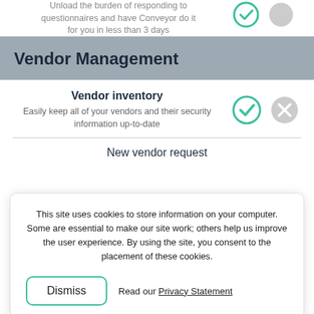Unload the burden of responding to questionnaires and have Conveyor do it for you in less than 3 days
Vendor Management
Vendor inventory
Easily keep all of your vendors and their security information up-to-date
New vendor request
This site uses cookies to store information on your computer. Some are essential to make our site work; others help us improve the user experience. By using the site, you consent to the placement of these cookies.
Dismiss
Read our Privacy Statement
findings